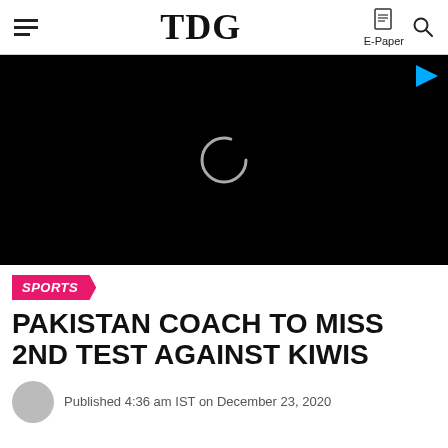TDG | E-Paper
[Figure (screenshot): Black video player with loading spinner circle and blue play indicator in top-right corner]
SPORTS
PAKISTAN COACH TO MISS 2ND TEST AGAINST KIWIS
Published 4:36 am IST on December 23, 2020